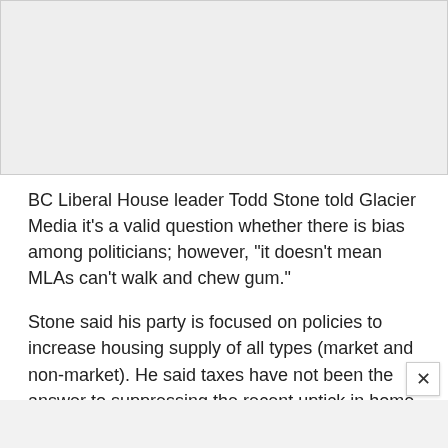[Figure (other): Gray placeholder image area at the top of the page]
BC Liberal House leader Todd Stone told Glacier Media it's a valid question whether there is bias among politicians; however, "it doesn't mean MLAs can't walk and chew gum."
Stone said his party is focused on policies to increase housing supply of all types (market and non-market). He said taxes have not been the answer to suppressing the recent uptick in home prices but could not confirm the party's policy proposals are aimed to drive home